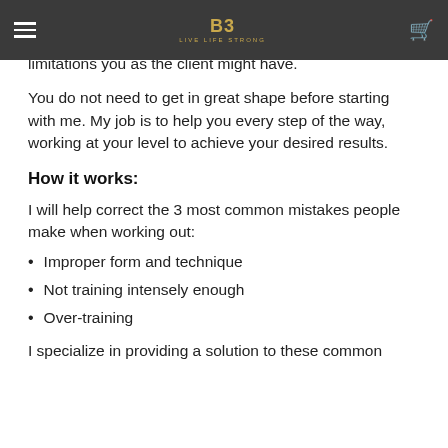Navigation bar with hamburger menu, logo (B3 LIVE LIFE STRONG), and cart icon
Every piece of equipment used is set according to your body, taking into account any special requirements or limitations you as the client might have.
You do not need to get in great shape before starting with me. My job is to help you every step of the way, working at your level to achieve your desired results.
How it works:
I will help correct the 3 most common mistakes people make when working out:
Improper form and technique
Not training intensely enough
Over-training
I specialize in providing a solution to these common mistakes by using High Efficiency Training so that...